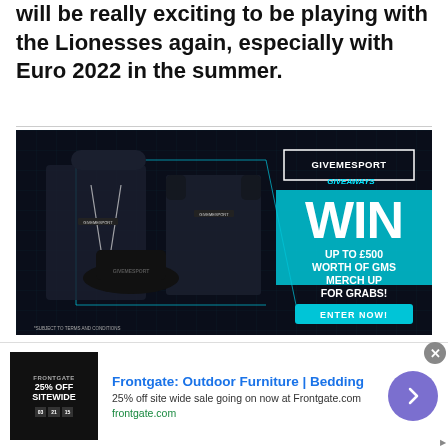will be really exciting to be playing with the Lionesses again, especially with Euro 2022 in the summer.
[Figure (photo): GiveMeSport Giveaways promotional banner showing dark merchandise (hoodie, t-shirt, cap) with text: WIN UP TO £500 WORTH OF GMS MERCH UP FOR GRABS! ENTER NOW! *SUBJECT TO TERMS AND CONDITIONS]
[Figure (photo): Frontgate advertisement banner: Frontgate: Outdoor Furniture | Bedding. 25% off site wide sale going on now at Frontgate.com. frontgate.com]